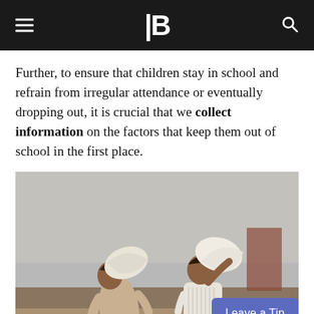B
Further, to ensure that children stay in school and refrain from irregular attendance or eventually dropping out, it is crucial that we collect information on the factors that keep them out of school in the first place.
[Figure (photo): Two children carrying large white sacks on their heads/shoulders, walking on a dusty, littered ground with a hazy sky background. A 'Leave a Tip' button overlay appears in the bottom right corner.]